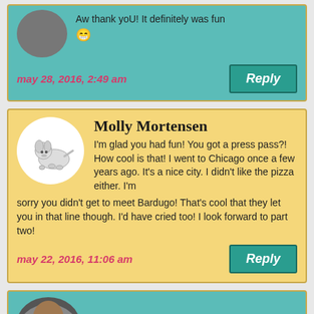Aw thank yoU! It definitely was fun 😁
may 28, 2016, 2:49 am
Reply
Molly Mortensen
I'm glad you had fun! You got a press pass?! How cool is that! I went to Chicago once a few years ago. It's a nice city. I didn't like the pizza either. I'm sorry you didn't get to meet Bardugo! That's cool that they let you in that line though. I'd have cried too! I look forward to part two!
may 22, 2016, 11:06 am
Reply
Shannon @ It Starts at